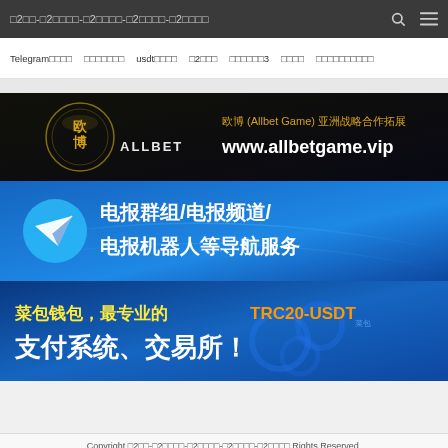□2□□-□2□□□□-□2□□□□-□2□□□□-□2□□□□
Telegram□□□□  □□□□□□□  usdt□□□□  □2□□□  □□□□□□3  □□□□  □□□□□□□□□□
[Figure (illustration): Allbet Game banner with logo showing 欧博 ALLBET text and website www.allbetgame.vip and text 欧博 (Allbet Game) 亚洲战略合作拓展 on dark background]
[Figure (illustration): Telegram blue banner with Telegram paper plane logo and Chinese text 电报群组/电报频道/电报机器人等导航服务]
[Figure (illustration): Blue banner with Chinese text 菜包钱包，最专业的TRC20-USDT 支付系统、交易所！]
Copyright □2□□-□2□□□□-□2□□□□-□2□□□□-□2□□□□ Rights Reserved.